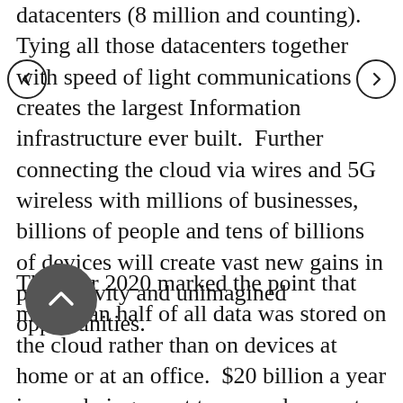datacenters (8 million and counting). Tying all those datacenters together with speed of light communications creates the largest Information infrastructure ever built. Further connecting the cloud via wires and 5G wireless with millions of businesses, billions of people and tens of billions of devices will create vast new gains in productivity and unimagined opportunities.

The year 2020 marked the point that more than half of all data was stored on the cloud rather than on devices at home or at an office. $20 billion a year is now being spent to expand current datacenters and build more on the edge. The result is “the first civilization scale infrastructure.” Mills concludes that the cloud will be to the 21st century what railroads were to the 19th century and what the electric grid was